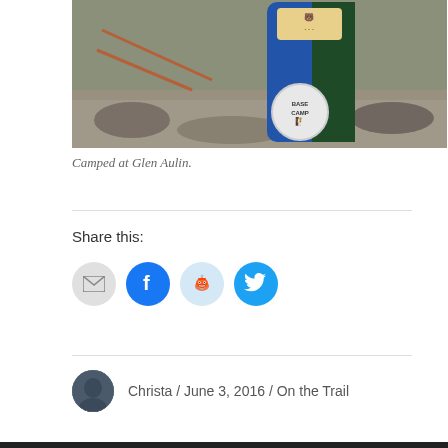[Figure (photo): A bear canister (blue/green cylindrical container with bear label and BASE CAMP patch) sitting on rocky ground outdoors, with orange rope visible in the background.]
Camped at Glen Aulin.
Share this:
[Figure (infographic): Row of four social share icon buttons: email (grey circle with envelope), Facebook (blue circle with f logo), Reddit (light blue circle with alien logo), Twitter (blue circle with bird logo)]
Christa / June 3, 2016 / On the Trail